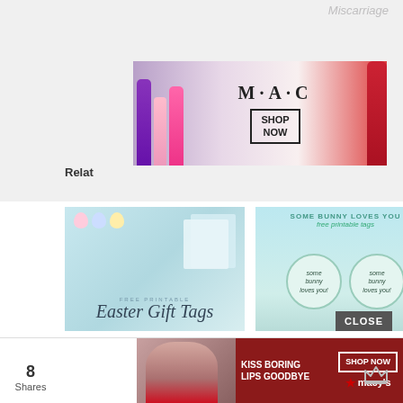Miscarriage
[Figure (photo): MAC cosmetics advertisement banner with lipsticks and SHOP NOW button]
Relat...
[Figure (photo): Easter Gift Tags free printable thumbnail image]
Easter Gift Tags
April 4, 2022
In "Easter"
[Figure (photo): Some Bunny Loves You free printable tags thumbnail]
Some Bunny Loves You Printable
April 17, 2022
In "Easter"
[Figure (photo): End of the year markers/pens gift tag thumbnail]
End of the year
CLOSE
8
Shares
[Figure (photo): Macy's advertisement: KISS BORING LIPS GOODBYE, SHOP NOW]